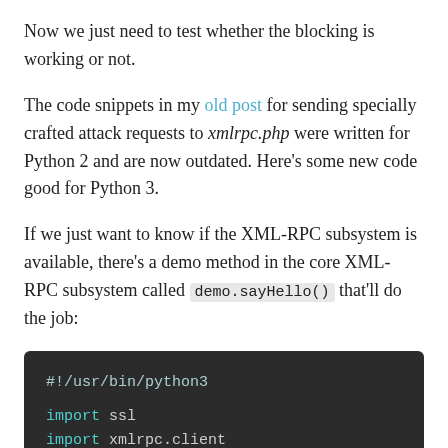Now we just need to test whether the blocking is working or not.
The code snippets in my old post for sending specially crafted attack requests to xmlrpc.php were written for Python 2 and are now outdated. Here’s some new code good for Python 3.
If we just want to know if the XML-RPC subsystem is available, there’s a demo method in the core XML-RPC subsystem called demo.sayHello() that’ll do the job:
[Figure (screenshot): Dark-themed code block showing Python 3 script: shebang line #!/usr/bin/python3, then blank line, then 'import ssl' and 'import xmlrpc.client', then partially visible next line.]